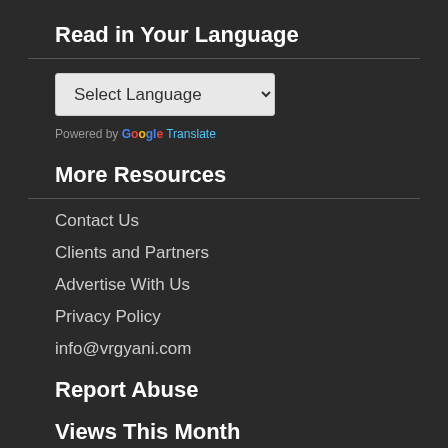Read in Your Language
[Figure (screenshot): Select Language dropdown widget with Google Translate branding]
Powered by Google Translate
More Resources
Contact Us
Clients and Partners
Advertise With Us
Privacy Policy
info@vrgyani.com
Report Abuse
Views This Month